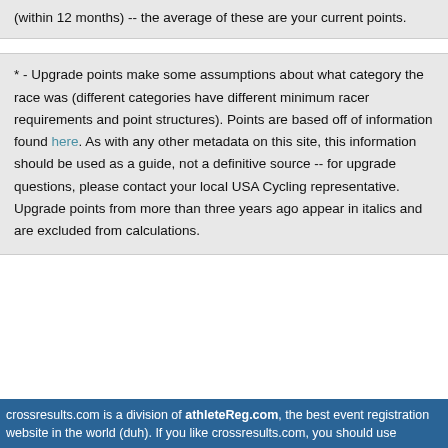(within 12 months) -- the average of these are your current points.
* - Upgrade points make some assumptions about what category the race was (different categories have different minimum racer requirements and point structures). Points are based off of information found here. As with any other metadata on this site, this information should be used as a guide, not a definitive source -- for upgrade questions, please contact your local USA Cycling representative. Upgrade points from more than three years ago appear in italics and are excluded from calculations.
crossresults.com is a division of athleteReg.com, the best event registration website in the world (duh). If you like crossresults.com, you should use